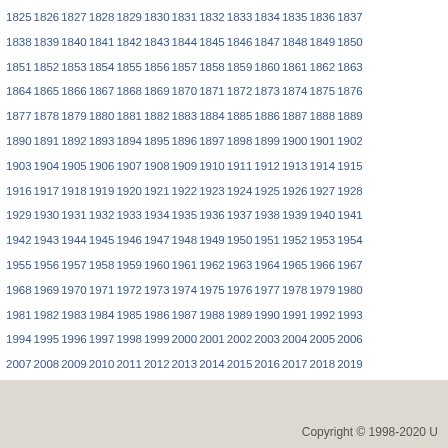1825 1826 1827 1828 1829 1830 1831 1832 1833 1834 1835 1836 1837 1838 1839 1840 1841 1842 1843 1844 1845 1846 1847 1848 1849 1850 1851 1852 1853 1854 1855 1856 1857 1858 1859 1860 1861 1862 1863 1864 1865 1866 1867 1868 1869 1870 1871 1872 1873 1874 1875 1876 1877 1878 1879 1880 1881 1882 1883 1884 1885 1886 1887 1888 1889 1890 1891 1892 1893 1894 1895 1896 1897 1898 1899 1900 1901 1902 1903 1904 1905 1906 1907 1908 1909 1910 1911 1912 1913 1914 1915 1916 1917 1918 1919 1920 1921 1922 1923 1924 1925 1926 1927 1928 1929 1930 1931 1932 1933 1934 1935 1936 1937 1938 1939 1940 1941 1942 1943 1944 1945 1946 1947 1948 1949 1950 1951 1952 1953 1954 1955 1956 1957 1958 1959 1960 1961 1962 1963 1964 1965 1966 1967 1968 1969 1970 1971 1972 1973 1974 1975 1976 1977 1978 1979 1980 1981 1982 1983 1984 1985 1986 1987 1988 1989 1990 1991 1992 1993 1994 1995 1996 1997 1998 1999 2000 2001 2002 2003 2004 2005 2006 2007 2008 2009 2010 2011 2012 2013 2014 2015 2016 2017 2018 2019 2020 2021 2022 2023 2024 2025 2026 2027 2028 2029 2030 2031 2032 2033 2034 2035 2036 2037 2038 2039 2040 2041 2042 2043 2044 2045 2046 2047 2048 2049 2050 2051 2052 2053 2054
Chat Offline   Contact Us   585.275.4471
Copyright © 1998-2020 U